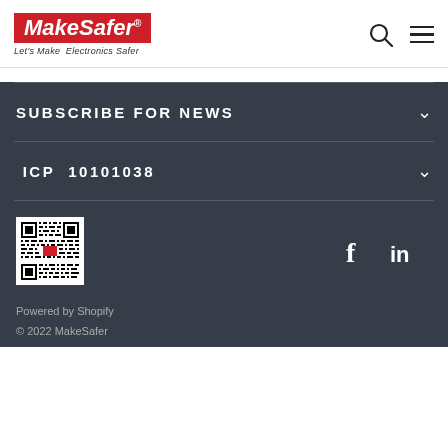[Figure (logo): MakeSafer logo with red background, white italic text, registered trademark symbol, and tagline 'Let's Make Electronics Safer']
SUBSCRIBE FOR NEWS
ICP 10101038
[Figure (other): QR code image for MakeSafer]
[Figure (other): Facebook and LinkedIn social media icons]
Powered by Shopify
© 2022 MakeSafer